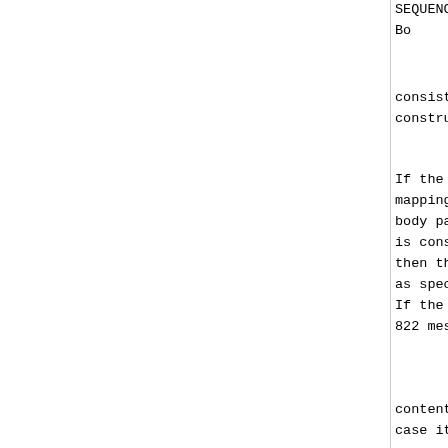SEQUENC
Bo
consists of a single body
constructed as the MIME co
If the body part is an IPM
mapping is applied recursi
body part to a MIME conten
is consulted.  If the MHS
then the body-part is mapp
as specified in [4].
If the IPMS.Body consists
822 message body is constr
multipart/mixed
content-type, unless all o
case it is mapped to a